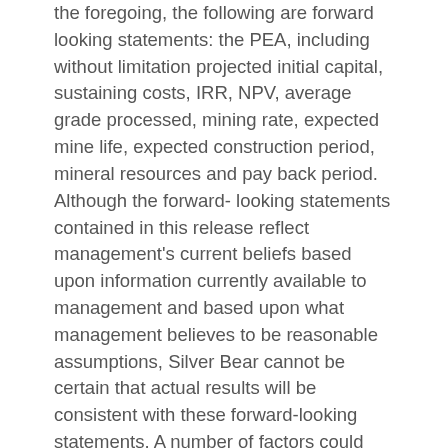the foregoing, the following are forward looking statements: the PEA, including without limitation projected initial capital, sustaining costs, IRR, NPV, average grade processed, mining rate, expected mine life, expected construction period, mineral resources and pay back period. Although the forward- looking statements contained in this release reflect management's current beliefs based upon information currently available to management and based upon what management believes to be reasonable assumptions, Silver Bear cannot be certain that actual results will be consistent with these forward-looking statements. A number of factors could cause events and achievements to differ materially from the results expressed or implied in the forward-looking statements. Such risks factors include but are not limited to uncertainties inherent to preliminary economic assessments, which are based on many assumptions that might not be realized, risks with respect to operating in